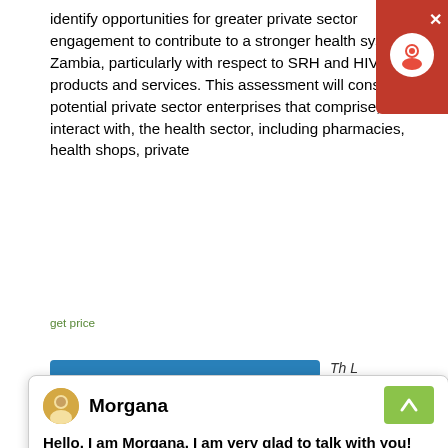identify opportunities for greater private sector engagement to contribute to a stronger health system in Zambia, particularly with respect to SRH and HIV-related products and services. This assessment will consider potential private sector enterprises that comprise, or interact with, the health sector, including pharmacies, health shops, private
get price
[Figure (screenshot): Chat popup overlay with avatar of Morgana, close button (×), agent name 'Morgana', and message 'Hello, I am Morgana, I am very glad to talk with you!']
[Figure (photo): Industrial facility photo with blue steel structures and equipment, dated 10/28/2019]
Zambia
This is a repo commissioned Greenpeace Italy to review the Luangwa Communi-ty Forests Project (LCFP) in Zambia with a special interest in checking for any inconsi-stencies in terms of assumptions, projected carbon credits to be generated, and any unintended effects on the community. In the